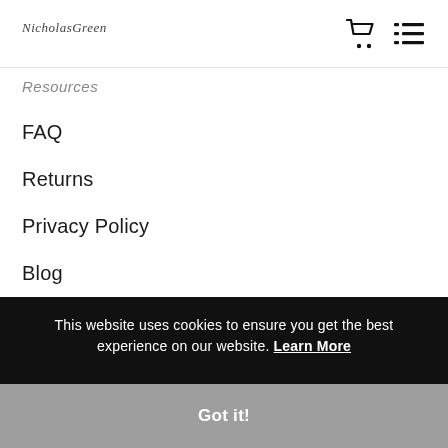NicholasGreen [logo] [cart icon] [menu icon]
Resources
FAQ
Returns
Privacy Policy
Blog
[Figure (illustration): Chat bubble icon with three dots, light gray color]
Stay Updated
This website uses cookies to ensure you get the best experience on our website. Learn More
Got it!